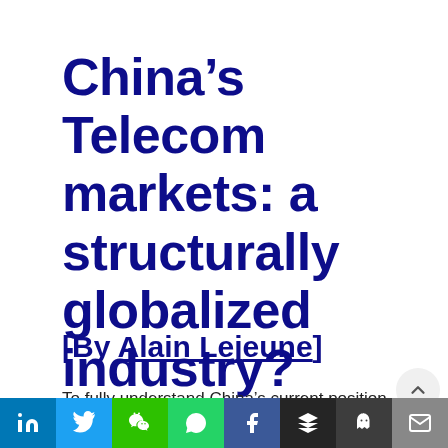China's Telecom markets: a structurally globalized industry?
[By Alain Lejeune]
To fully understand China's current position